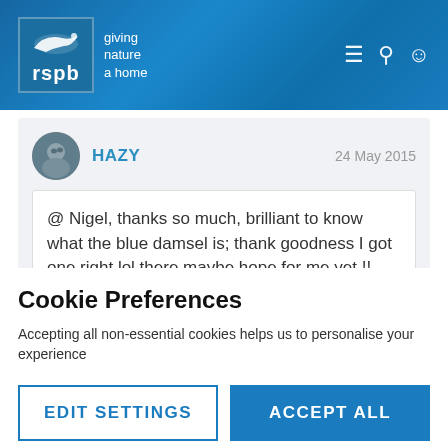[Figure (logo): RSPB logo with bird silhouette and tagline 'giving nature a home']
HAZY
24 May 2015
@ Nigel, thanks so much, brilliant to know what the blue damsel is; thank goodness I got one right lol there maybe hope for me yet !! .
Cookie Preferences
Accepting all non-essential cookies helps us to personalise your experience
EDIT SETTINGS
ACCEPT ALL